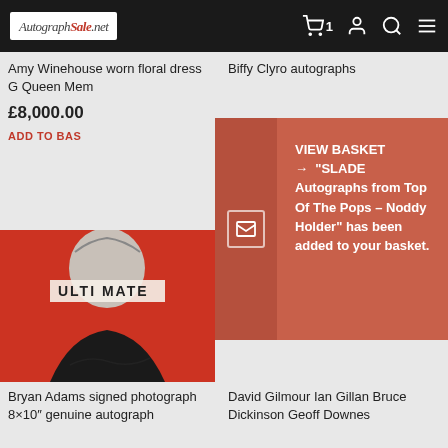AutographSale.net - navigation bar with cart, account, search, menu icons
Amy Winehouse worn floral dress Queen Mem
£8,000.00
ADD TO BASKET
Biffy Clyro autographs
VIEW BASKET → "SLADE Autographs from Top Of The Pops – Noddy Holder" has been added to your basket.
[Figure (photo): Bryan Adams signed photograph 8x10" - black and white portrait of a man with sunglasses reading ULTIMATE on red background]
SALE!
Bryan Adams signed photograph 8×10" genuine autograph
David Gilmour Ian Gillan Bruce Dickinson Geoff Downes